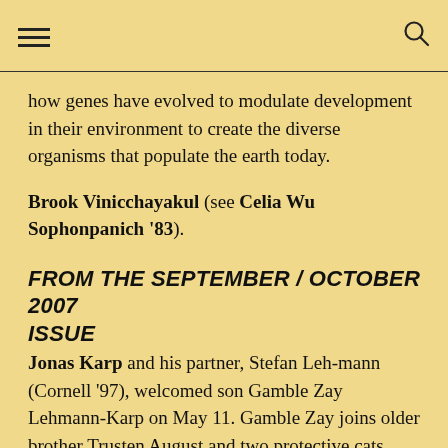how genes have evolved to modulate development in their environment to create the diverse organisms that populate the earth today.
Brook Vinicchayakul (see Celia Wu Sophonpanich '83).
FROM THE SEPTEMBER / OCTOBER 2007 ISSUE
Jonas Karp and his partner, Stefan Leh-mann (Cornell '97), welcomed son Gamble Zay Lehmann-Karp on May 11. Gamble Zay joins older brother Trusten August and two protective cats, Ranger and Eurizione. All are happy and healthy in New York City.